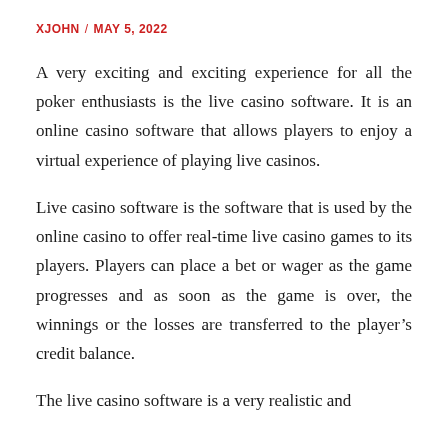XJOHN / MAY 5, 2022
A very exciting and exciting experience for all the poker enthusiasts is the live casino software. It is an online casino software that allows players to enjoy a virtual experience of playing live casinos.
Live casino software is the software that is used by the online casino to offer real-time live casino games to its players. Players can place a bet or wager as the game progresses and as soon as the game is over, the winnings or the losses are transferred to the player’s credit balance.
The live casino software is a very realistic and